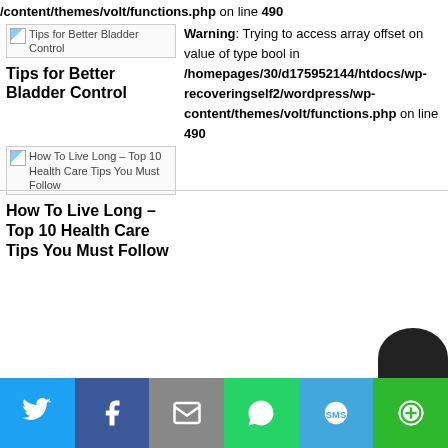/content/themes/volt/functions.php on line 490
[Figure (screenshot): Broken image thumbnail for Tips for Better Bladder Control]
Warning: Trying to access array offset on value of type bool in /homepages/30/d175952144/htdocs/wp-recoveringself2/wordpress/wp-content/themes/volt/functions.php on line 490
Tips for Better Bladder Control
[Figure (screenshot): Broken image thumbnail for How To Live Long - Top 10 Health Care Tips You Must Follow]
How To Live Long – Top 10 Health Care Tips You Must Follow
[Figure (infographic): Social share bar with Twitter, Facebook, Email, WhatsApp, SMS, and More buttons]